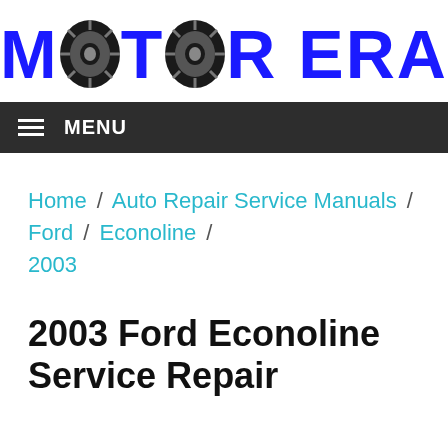[Figure (logo): Motor Era logo with blue bold text 'MOTOR ERA' and two tire images replacing the O letters]
MENU
Home / Auto Repair Service Manuals / Ford / Econoline / 2003
2003 Ford Econoline Service Repair